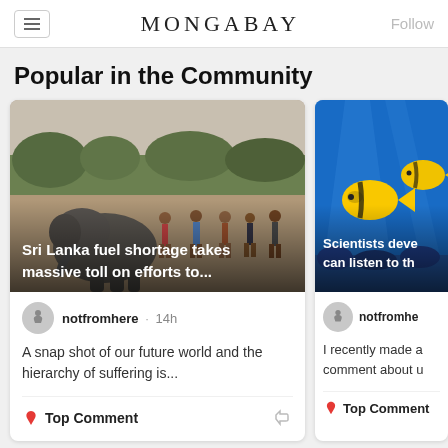MONGABAY
Popular in the Community
[Figure (photo): People standing around an elephant in a dry field, Sri Lanka]
Sri Lanka fuel shortage takes massive toll on efforts to...
notfromhere · 14h
A snap shot of our future world and the hierarchy of suffering is...
Top Comment
[Figure (photo): Colorful tropical fish including yellow butterfly fish underwater on a reef]
Scientists deve can listen to th
notfromhe
I recently made a comment about u
Top Comment